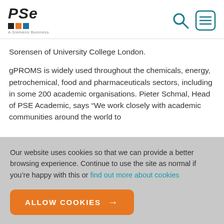PSE — A Siemens Business (logo and nav icons)
Sorensen of University College London.
gPROMS is widely used throughout the chemicals, energy, petrochemical, food and pharmaceuticals sectors, including in some 200 academic organisations. Pieter Schmal, Head of PSE Academic, says “We work closely with academic communities around the world to
Our website uses cookies so that we can provide a better browsing experience. Continue to use the site as normal if you’re happy with this or find out more about cookies
ALLOW COOKIES →